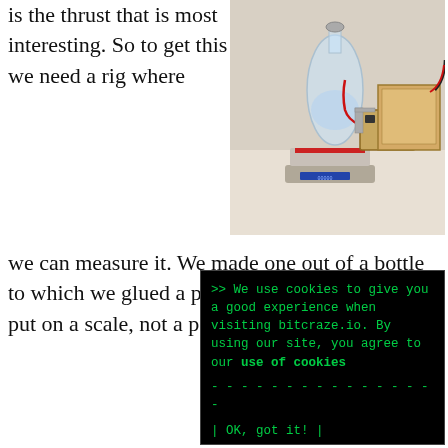is the thrust that is most interesting. So to get this we need a rig where we can measure it. We made one out of a bottle to which we glued a prototype board on that we put on a scale, not a perfect setup but good enough. Then we swept the PWM from 0% to 100% with motors disabled. We also made a cardboard box where we could put the lid, that would increase the thrust. In a second step we took a reading of thrust, RPM, voltage and
[Figure (photo): Photo of a homemade thrust measurement rig: a glass bottle on a digital scale with a prototype board and electronics, connected to a cardboard box with wires.]
[Figure (screenshot): Cookie consent overlay banner with green monospace terminal text on black background. Text reads: '>> We use cookies to give you a good experience when visiting bitcraze.io. By using our site, you agree to our use of cookies' with an '| OK, got it! |' button styled with dashes.]